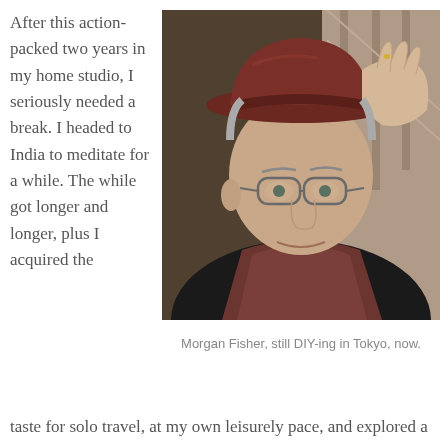After this action-packed two years in my home studio, I seriously needed a break. I headed to India to meditate for a while. The while got longer and longer, plus I acquired the
[Figure (photo): Portrait photo of Morgan Fisher, an older man wearing a dark red/brown fedora hat and glasses, dressed in black with a dark scarf, adjusting his hat brim with one hand and looking at the camera with a slight smile. Taken indoors near stairs.]
Morgan Fisher, still DIY-ing in Tokyo, now.
taste for solo travel, at my own leisurely pace, and explored a